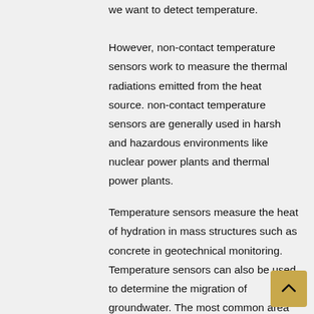we want to detect temperature. However, non-contact temperature sensors work to measure the thermal radiations emitted from the heat source. non-contact temperature sensors are generally used in harsh and hazardous environments like nuclear power plants and thermal power plants.
Temperature sensors measure the heat of hydration in mass structures such as concrete in geotechnical monitoring. Temperature sensors can also be used to determine the migration of groundwater. The most common area of temperature sensors usage is during the curing procedure of concrete because it